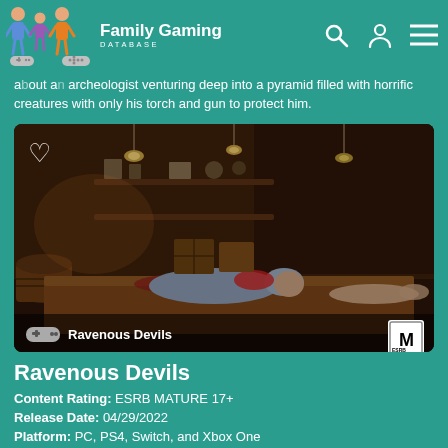Family Gaming DATABASE
about an archeologist venturing deep into a pyramid filled with horrific creatures with only his torch and gun to protect him.
[Figure (screenshot): Dark, atmospheric game screenshot of Ravenous Devils showing a grisly indoor scene with bodies on a table, barrels, and wooden crates in dim lighting. Overlay shows game title 'Ravenous Devils' with controller icon and ESRB M rating badge.]
Ravenous Devils
Content Rating: ESRB MATURE 17+
Release Date: 04/29/2022
Platform: PC, PS4, Switch, and Xbox One